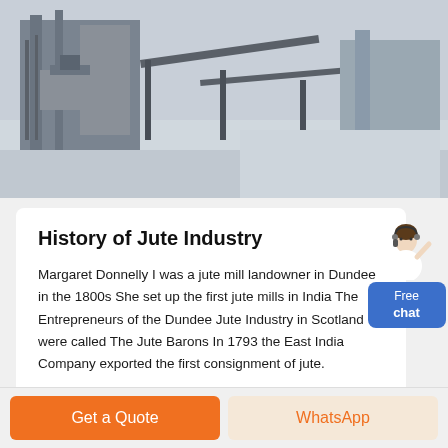[Figure (photo): Aerial/elevated view of an industrial facility with machinery, conveyors, and equipment — appears to be a jute or textile mill or similar manufacturing plant.]
History of Jute Industry
Margaret Donnelly I was a jute mill landowner in Dundee in the 1800s She set up the first jute mills in India The Entrepreneurs of the Dundee Jute Industry in Scotland were called The Jute Barons In 1793 the East India Company exported the first consignment of jute.
Haz clic para chatear
[Figure (illustration): Small avatar illustration of a woman in white with a headset, representing a live chat agent, with a blue 'Free chat' button below.]
Get a Quote
WhatsApp